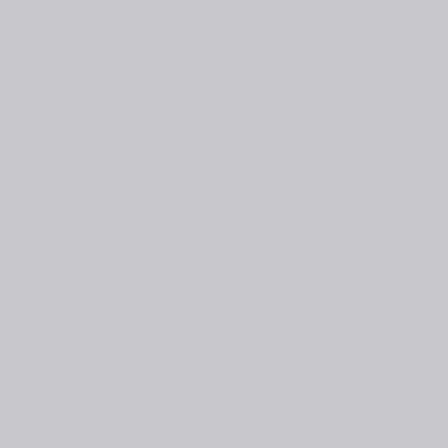d wr I ha no pe pla I ha no ba up I ha no co for rai da